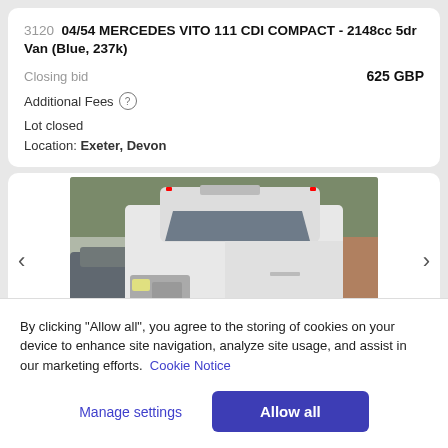3120 04/54 MERCEDES VITO 111 CDI COMPACT - 2148cc 5dr Van (Blue, 237k)
Closing bid   625 GBP
Additional Fees
Lot closed
Location: Exeter, Devon
[Figure (photo): White Mercedes Vito high-roof compact van parked in a lot, front three-quarter view]
By clicking "Allow all", you agree to the storing of cookies on your device to enhance site navigation, analyze site usage, and assist in our marketing efforts. Cookie Notice
Manage settings   Allow all